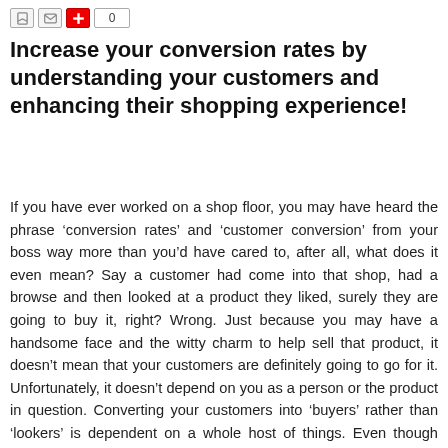[Figure (other): Row of social sharing icons: a save icon, an email icon, a red plus icon, and a count box showing 0]
Increase your conversion rates by understanding your customers and enhancing their shopping experience!
If you have ever worked on a shop floor, you may have heard the phrase ‘conversion rates’ and ‘customer conversion’ from your boss way more than you’d have cared to, after all, what does it even mean? Say a customer had come into that shop, had a browse and then looked at a product they liked, surely they are going to buy it, right? Wrong. Just because you may have a handsome face and the witty charm to help sell that product, it doesn’t mean that your customers are definitely going to go for it. Unfortunately, it doesn’t depend on you as a person or the product in question. Converting your customers into ‘buyers’ rather than ‘lookers’ is dependent on a whole host of things. Even though purchasing online and/or instore has its similarities, the process of conversion varies widely in terms of process. We look at how to boost your conversion rates to